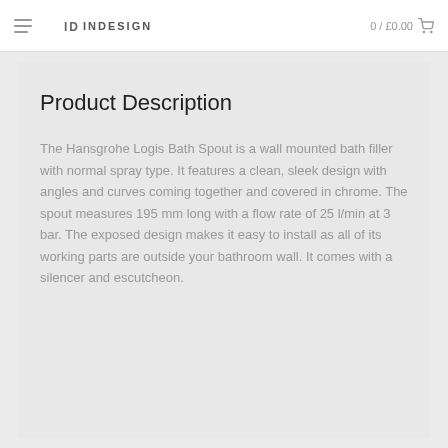ID INDESIGN   0 / £0.00
Product Description
The Hansgrohe Logis Bath Spout is a wall mounted bath filler with normal spray type. It features a clean, sleek design with angles and curves coming together and covered in chrome. The spout measures 195 mm long with a flow rate of 25 l/min at 3 bar. The exposed design makes it easy to install as all of its working parts are outside your bathroom wall. It comes with a silencer and escutcheon.